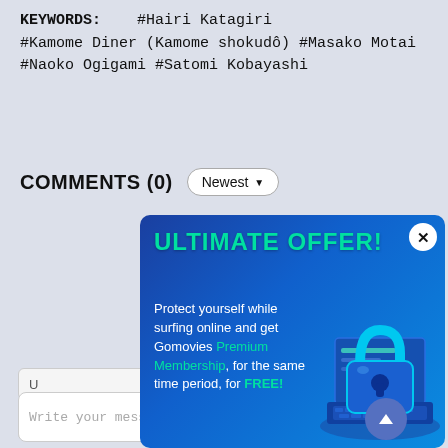KEYWORDS:    #Hairi Katagiri #Kamome Diner (Kamome shokudô) #Masako Motai #Naoko Ogigami #Satomi Kobayashi
COMMENTS (0)
[Figure (screenshot): A popup advertisement overlay with blue gradient background. Title reads 'ULTIMATE OFFER!' in green/teal text. Body text: 'Protect yourself while surfing online and get Gomovies Premium Membership, for the same time period, for FREE!' with an isometric VPN/lock illustration on the right side. A white X close button in top-right corner.]
Write your mess